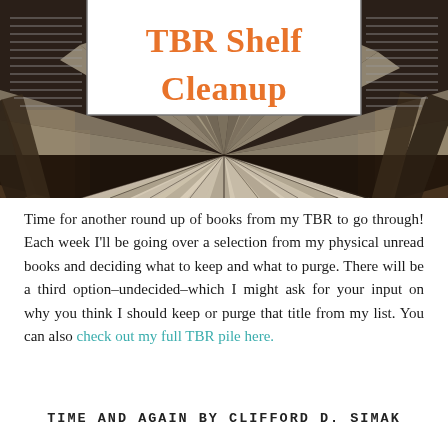[Figure (illustration): Top banner image showing a collage of books fanned open viewed from above, with a white overlaid box containing the title 'TBR Shelf Cleanup' in orange text. Decorative horizontal lines appear on the left and right sides of the white box. Below the white box is a photograph of books splayed out in a radial pattern.]
Time for another round up of books from my TBR to go through! Each week I'll be going over a selection from my physical unread books and deciding what to keep and what to purge. There will be a third option–undecided–which I might ask for your input on why you think I should keep or purge that title from my list. You can also check out my full TBR pile here.
TIME AND AGAIN BY CLIFFORD D. SIMAK